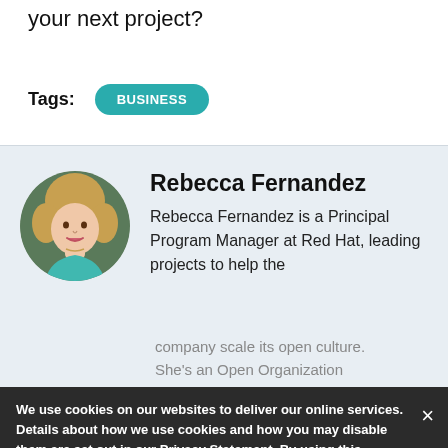your next project?
Tags:
BUSINESS
Rebecca Fernandez
Rebecca Fernandez is a Principal Program Manager at Red Hat, leading projects to help the company scale its open culture. She's an Open Organization
We use cookies on our websites to deliver our online services. Details about how we use cookies and how you may disable them are set out in our Privacy Statement. By using this website you agree to our use of cookies.